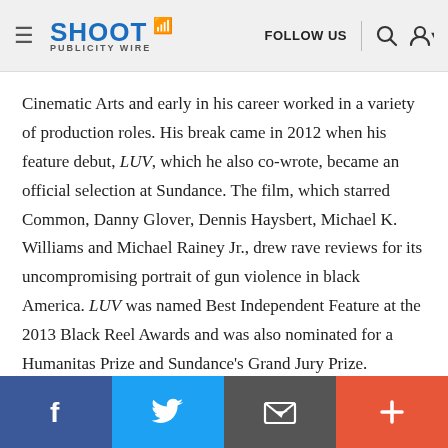SHOOT PUBLICITY WIRE — FOLLOW US
Cinematic Arts and early in his career worked in a variety of production roles. His break came in 2012 when his feature debut, LUV, which he also co-wrote, became an official selection at Sundance. The film, which starred Common, Danny Glover, Dennis Haysbert, Michael K. Williams and Michael Rainey Jr., drew rave reviews for its uncompromising portrait of gun violence in black America. LUV was named Best Independent Feature at the 2013 Black Reel Awards and was also nominated for a Humanitas Prize and Sundance's Grand Jury Prize.
Since then, Candis's work has included the documentary feature Here Comes the Show for ESPN's 30 for 30 series. It centers on the 1981-83 Dunbar Poets, billed as "the greatest
Facebook | Twitter | Email | Plus